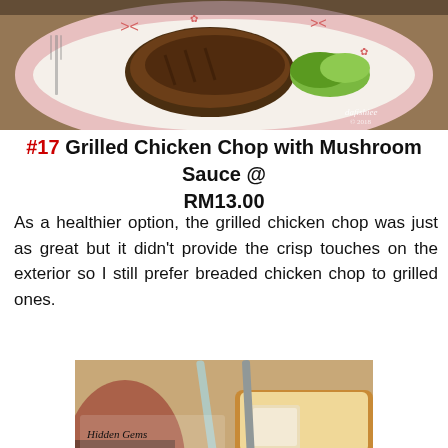[Figure (photo): Close-up photo of grilled chicken chop with mushroom sauce on a decorative plate with garnish, watermark 'dafishiee']
#17 Grilled Chicken Chop with Mushroom Sauce @ RM13.00
As a healthier option, the grilled chicken chop was just as great but it didn't provide the crisp touches on the exterior so I still prefer breaded chicken chop to grilled ones.
[Figure (photo): Close-up photo of a drink in a glass with ice and straw, watermark 'Hidden Gems at Johor Bahru']